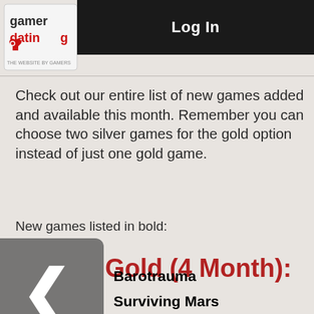Log In
Check out our entire list of new games added and available this month. Remember you can choose two silver games for the gold option instead of just one gold game.
New games listed in bold:
Gold (4 Month):
Barotrauma
Surviving Mars